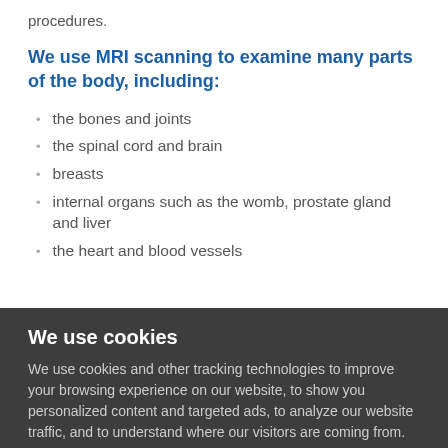procedures.
We use MRI scanning to examine many parts of the body, including:
the bones and joints
the spinal cord and brain
breasts
internal organs such as the womb, prostate gland and liver
the heart and blood vessels
We use cookies
We use cookies and other tracking technologies to improve your browsing experience on our website, to show you personalized content and targeted ads, to analyze our website traffic, and to understand where our visitors are coming from.